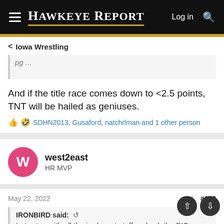Hawkeye Report | Log in
Iowa Wrestling
And if the title race comes down to <2.5 points, TNT will be hailed as geniuses.
SDHN2013, Gusaford, natchrlman and 1 other person
west2east
HR MVP
May 22, 2022  #140
IRONBIRD said:
Lets stop with all the irrelevant stuff and ask the BIG